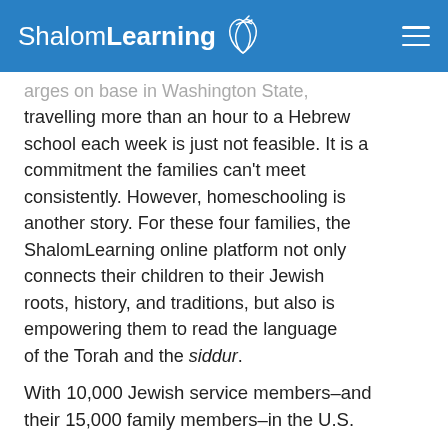ShalomLearning
arges on base in Washington State, travelling more than an hour to a Hebrew school each week is just not feasible. It is a commitment the families can't meet consistently. However, homeschooling is another story. For these four families, the ShalomLearning online platform not only connects their children to their Jewish roots, history, and traditions, but also is empowering them to read the language of the Torah and the siddur.
With 10,000 Jewish service members–and their 15,000 family members–in the U.S.